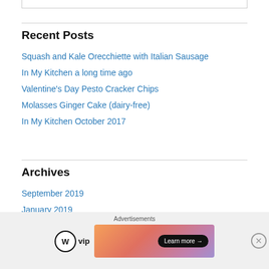Recent Posts
Squash and Kale Orecchiette with Italian Sausage
In My Kitchen a long time ago
Valentine's Day Pesto Cracker Chips
Molasses Ginger Cake (dairy-free)
In My Kitchen October 2017
Archives
September 2019
January 2019
February 2018
[Figure (infographic): WordPress VIP advertisement banner with Learn more button]